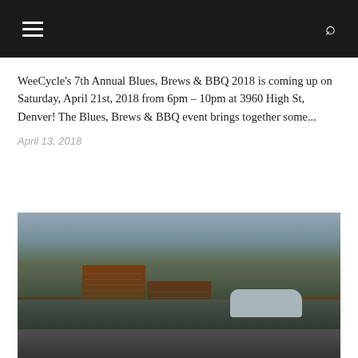Navigation menu and search icon
WeeCycle's 7th Annual Blues, Brews & BBQ 2018 is coming up on Saturday, April 21st, 2018 from 6pm – 10pm at 3960 High St, Denver! The Blues, Brews & BBQ event brings together some...
April 13, 2018
[Figure (photo): Parade scene on a city street with people in green attire, a woman in a pageant sash waving from a convertible car, children with scooters, brick buildings in the background.]